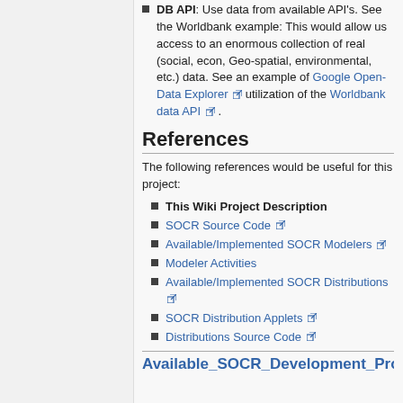DB API: Use data from available API's. See the Worldbank example: This would allow us access to an enormous collection of real (social, econ, Geo-spatial, environmental, etc.) data. See an example of Google Open-Data Explorer utilization of the Worldbank data API.
References
The following references would be useful for this project:
This Wiki Project Description
SOCR Source Code
Available/Implemented SOCR Modelers
Modeler Activities
Available/Implemented SOCR Distributions
SOCR Distribution Applets
Distributions Source Code
Available_SOCR_Development_Pro